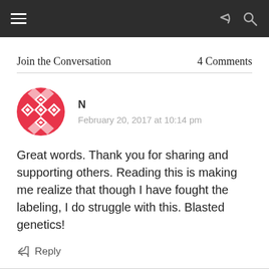Navigation bar with hamburger menu, share icon, and search icon
Join the Conversation    4 Comments
[Figure (illustration): Red and white geometric diamond/checkerboard pattern avatar icon for commenter N]
N
February 20, 2017 at 10:14 pm
Great words. Thank you for sharing and supporting others. Reading this is making me realize that though I have fought the labeling, I do struggle with this. Blasted genetics!
Reply